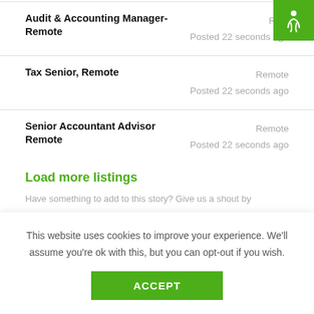[Figure (logo): Green square badge with white accessibility/person icon in top-right corner]
Audit & Accounting Manager- Remote
Remote
Posted 22 seconds ago
Tax Senior, Remote
Remote
Posted 22 seconds ago
Senior Accountant Advisor Remote
Remote
Posted 22 seconds ago
Load more listings
Have something to add to this story? Give us a shout by
This website uses cookies to improve your experience. We'll assume you're ok with this, but you can opt-out if you wish.
ACCEPT